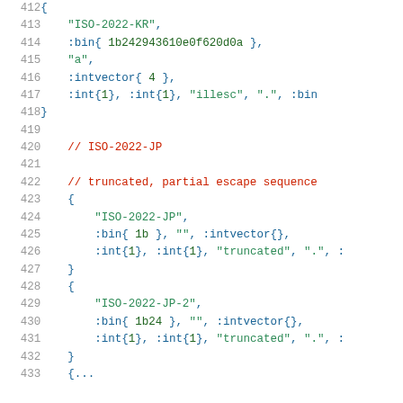Code listing lines 412-432 showing ISO-2022-KR and ISO-2022-JP encoding test data with binary sequences and string parameters.